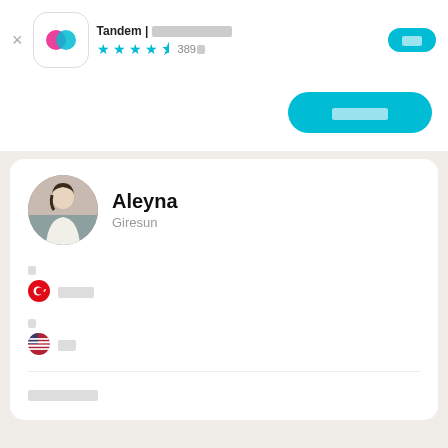Tandem | ???????????? ★★★★½ 389件
[Figure (logo): Tandem app logo with teal and pink overlapping speech bubbles on white rounded square background]
????
Aleyna
Giresun
? ???? (Turkish flag - native language)
? ?? (US flag - learning language)
????????